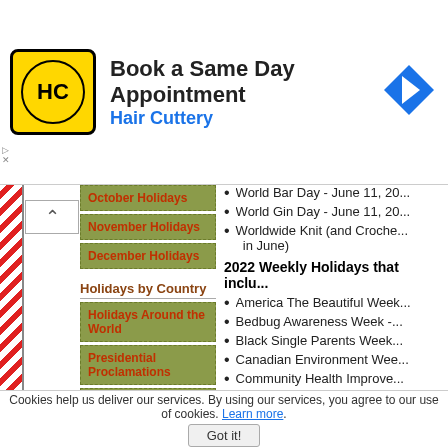[Figure (screenshot): Hair Cuttery advertisement banner with logo, text 'Book a Same Day Appointment', 'Hair Cuttery', and a blue navigation arrow icon]
World Bar Day - June 11, 20...
World Gin Day - June 11, 20...
Worldwide Knit (and Croche... in June)
2022 Weekly Holidays that inclu...
America The Beautiful Week...
Bedbug Awareness Week -...
Black Single Parents Week...
Canadian Environment Wee...
Community Health Improve...
End Mountain Top Removal...
Healthcare Executives Appr... of June)
International Clothesline We... in June)
National Business Etiquette...
National Commuter Challen... Canadian Environment Wee...
October Holidays
November Holidays
December Holidays
Holidays by Country
Holidays Around the World
Presidential Proclamations
State Holidays
US Federal Holidays
Holidays by Topic
Cookies help us deliver our services. By using our services, you agree to our use of cookies. Learn more. Got it!